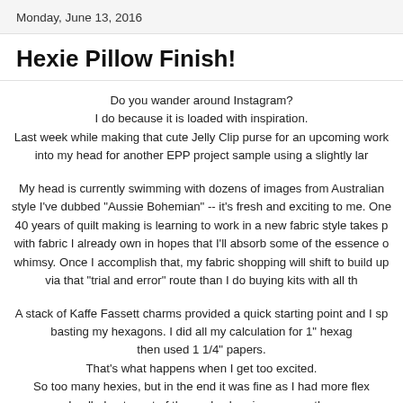Monday, June 13, 2016
Hexie Pillow Finish!
Do you wander around Instagram? I do because it is loaded with inspiration. Last week while making that cute Jelly Clip purse for an upcoming work into my head for another EPP project sample using a slightly lar
My head is currently swimming with dozens of images from Australian style I've dubbed "Aussie Bohemian" -- it's fresh and exciting to me. One 40 years of quilt making is learning to work in a new fabric style takes p with fabric I already own in hopes that I'll absorb some of the essence o whimsy. Once I accomplish that, my fabric shopping will shift to build up via that "trial and error" route than I do buying kits with all th
A stack of Kaffe Fassett charms provided a quick starting point and I sp basting my hexagons. I did all my calculation for 1" hexag then used 1 1/4" papers. That's what happens when I get too excited. So too many hexies, but in the end it was fine as I had more flex I pulled out most of the cool color pieces -- another
[Figure (photo): Photo of blue and teal hexagonal quilt pieces arranged together, partially visible at bottom of page]